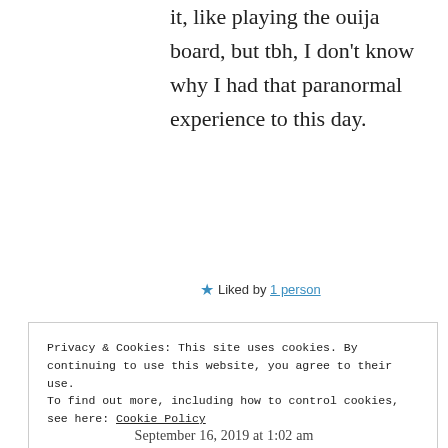it, like playing the ouija board, but tbh, I don't know why I had that paranormal experience to this day.
★ Liked by 1 person
Reply
Privacy & Cookies: This site uses cookies. By continuing to use this website, you agree to their use. To find out more, including how to control cookies, see here: Cookie Policy
Close and accept
September 16, 2019 at 1:02 am